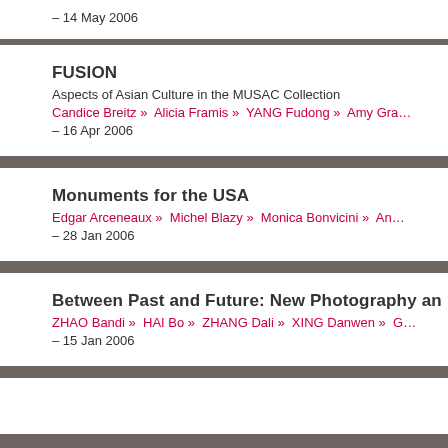– 14 May 2006
FUSION
Aspects of Asian Culture in the MUSAC Collection
Candice Breitz »  Alicia Framis »  YANG Fudong »  Amy Gran…
– 16 Apr 2006
Monuments for the USA
Edgar Arceneaux »  Michel Blazy »  Monica Bonvicini »  And…
– 28 Jan 2006
Between Past and Future: New Photography an…
ZHAO Bandi »  HAI Bo »  ZHANG Dali »  XING Danwen »  G…
– 15 Jan 2006